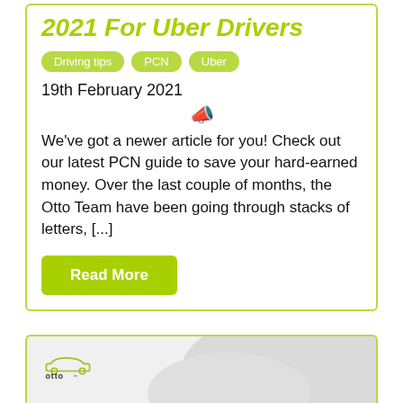2021 For Uber Drivers
Driving tips
PCN
Uber
19th February 2021
We've got a newer article for you! Check out our latest PCN guide to save your hard-earned money. Over the last couple of months, the Otto Team have been going through stacks of letters, [...]
Read More
[Figure (logo): Otto car insurance logo on a light grey card with decorative background shapes]